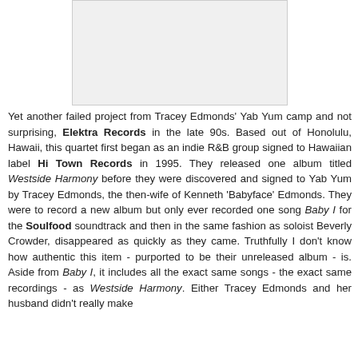[Figure (photo): Album or artist image placeholder (light gray rectangle)]
Yet another failed project from Tracey Edmonds' Yab Yum camp and not surprising, Elektra Records in the late 90s. Based out of Honolulu, Hawaii, this quartet first began as an indie R&B group signed to Hawaiian label Hi Town Records in 1995. They released one album titled Westside Harmony before they were discovered and signed to Yab Yum by Tracey Edmonds, the then-wife of Kenneth 'Babyface' Edmonds. They were to record a new album but only ever recorded one song Baby I for the Soulfood soundtrack and then in the same fashion as soloist Beverly Crowder, disappeared as quickly as they came. Truthfully I don't know how authentic this item - purported to be their unreleased album - is. Aside from Baby I, it includes all the exact same songs - the exact same recordings - as Westside Harmony. Either Tracey Edmonds and her husband didn't really make